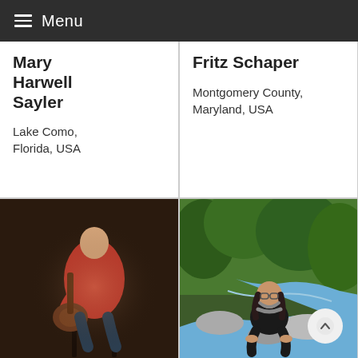Menu
Mary Harwell Sayler
Lake Como, Florida, USA
Fritz Schaper
Montgomery County, Maryland, USA
[Figure (photo): Person playing guitar in a dimly lit room, wearing a pink shirt]
[Figure (photo): Man with beard and glasses sitting on rocks by a stream in a wooded area]